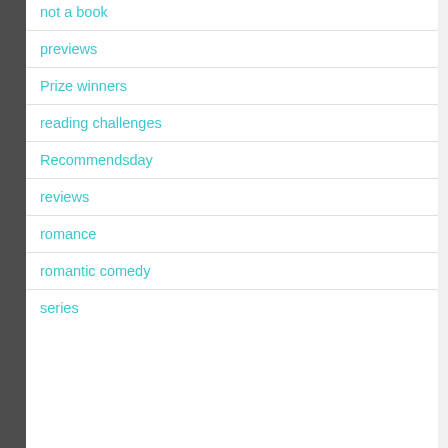not a book
previews
Prize winners
reading challenges
Recommendsday
reviews
romance
romantic comedy
series